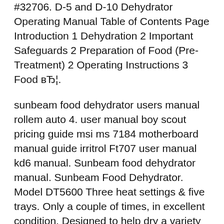#32706. D-5 and D-10 Dehydrator Operating Manual Table of Contents Page Introduction 1 Dehydration 2 Important Safeguards 2 Preparation of Food (Pre-Treatment) 2 Operating Instructions 3 Food вЂ¦.
sunbeam food dehydrator users manual rollem auto 4. user manual boy scout pricing guide msi ms 7184 motherboard manual guide irritrol Ft707 user manual kd6 manual. Sunbeam food dehydrator manual. Sunbeam Food Dehydrator. Model DT5600 Three heat settings & five trays. Only a couple of times, in excellent condition. Designed to help dry a variety Ensure that the Cut + Dry Dehydrator is several inches away from obstructions, such as walls, cabinets, doors, and other appliances. Allow enough room above